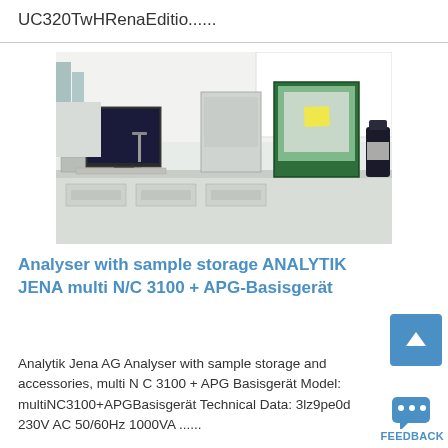UC320TwHRenaEditio......
[Figure (photo): Laboratory photo showing an Analytik Jena multi N/C 3100 analyser with sample storage on a lab bench, with a monitor, keyboard, tray, and large dark bottle visible.]
Analyser with sample storage ANALYTIK JENA multi N/C 3100 + APG-Basisgerät
Analytik Jena AG Analyser with sample storage and accessories, multi N C 3100 + APG Basisgerät Model: multiNC3100+APGBasisgerät Technical Data: 3lz9pe0d 230V AC 50/60Hz 1000VA ......